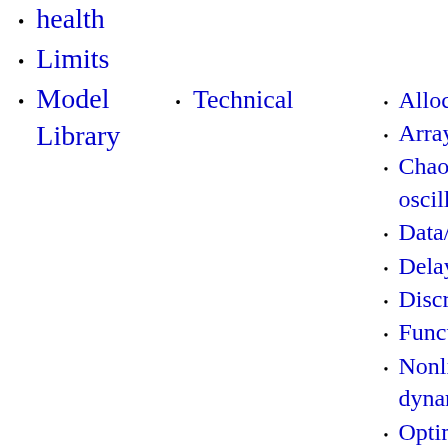health
Limits
Model Library
Technical
Allocation
Arrays
Chaos & oscillations
Data/calibration
Delays
Discrete
Functions
Nonlinear dynamics
Optimization
Stochastic
Structural analysis
Web